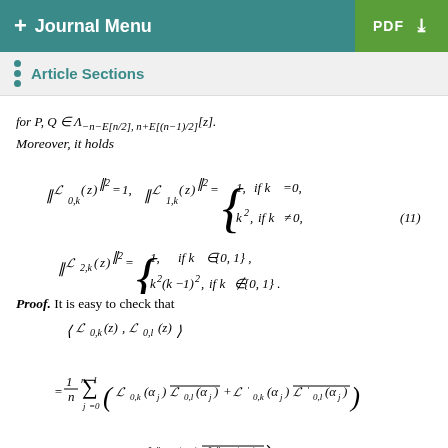+ Journal Menu | PDF
Article Sections
Moreover, it holds
Proof. It is easy to check that